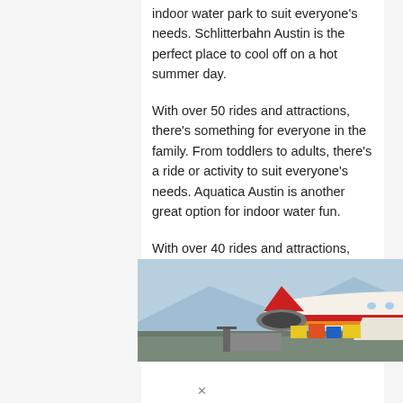indoor water park to suit everyone's needs. Schlitterbahn Austin is the perfect place to cool off on a hot summer day.
With over 50 rides and attractions, there's something for everyone in the family. From toddlers to adults, there's a ride or activity to suit everyone's needs. Aquatica Austin is another great option for indoor water fun.
With over 40 rides and attractions, Aquatica has something for everyone. From relaxing in one of the many pools to
[Figure (photo): Advertisement banner showing an airplane being loaded with cargo on the tarmac, with text overlay reading 'WITHOUT REGARD TO POLITICS, RELIGION OR WEALTH TO PAY']